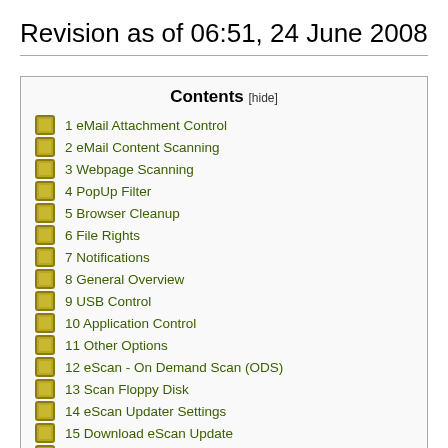Revision as of 06:51, 24 June 2008
1 eMail Attachment Control
2 eMail Content Scanning
3 Webpage Scanning
4 PopUp Filter
5 Browser Cleanup
6 File Rights
7 Notifications
8 General Overview
9 USB Control
10 Application Control
11 Other Options
12 eScan - On Demand Scan (ODS)
13 Scan Floppy Disk
14 eScan Updater Settings
15 Download eScan Update
16 View Log Files
17 Send Debug Information
18 Enable eMail/Webpage Scanning